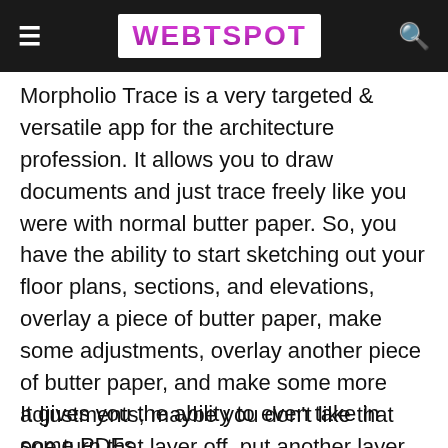≡  WEBTSPOT  🔍
Morpholio Trace is a very targeted & versatile app for the architecture profession. It allows you to draw documents and just trace freely like you were with normal butter paper. So, you have the ability to start sketching out your floor plans, sections, and elevations, overlay a piece of butter paper, make some adjustments, overlay another piece of butter paper, and make some more adjustments, maybe you don't like that one turn that layer off, put another layer on and just keep going, really get your flow and understanding of the concept design out very well.
It gives you the ability to even take in some PDFs